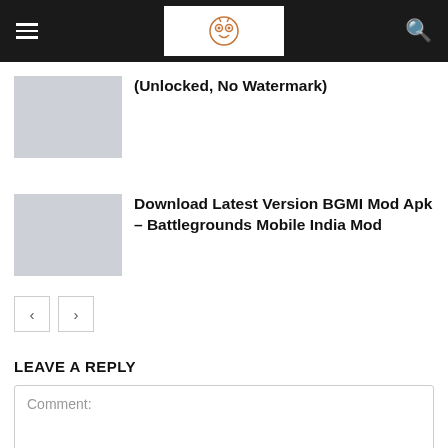Website navigation bar with hamburger menu, owl logo, and search icon
(Unlocked, No Watermark)
Download Latest Version BGMI Mod Apk – Battlegrounds Mobile India Mod
LEAVE A REPLY